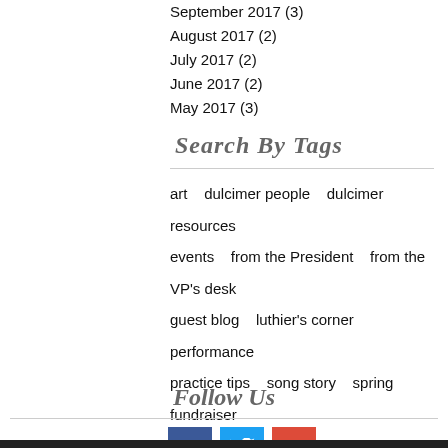September 2017 (3)
August 2017 (2)
July 2017 (2)
June 2017 (2)
May 2017 (3)
Search By Tags
art   dulcimer people   dulcimer resources   events   from the President   from the VP's desk   guest blog   luthier's corner   performance   practice tips   song story   spring fundraiser   TablEdit   Warm Up Picnic   winter retreat   workshops
Follow Us
[Figure (infographic): Social media icons: Facebook (blue), Twitter (light blue), Google+ (red/orange)]